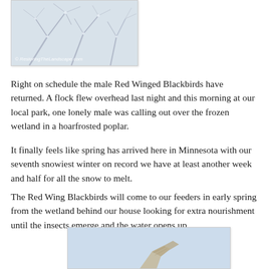[Figure (photo): Photo of winter tree branches covered in hoarfrost against a grey-white sky, with watermark '© RestoringTheLandscape.com' in the lower left corner.]
Right on schedule the male Red Winged Blackbirds have returned. A flock flew overhead last night and this morning at our local park, one lonely male was calling out over the frozen wetland in a hoarfrosted poplar.
It finally feels like spring has arrived here in Minnesota with our seventh snowiest winter on record we have at least another week and half for all the snow to melt.
The Red Wing Blackbirds will come to our feeders in early spring from the wetland behind our house looking for extra nourishment until the insects emerge and the water opens up.
[Figure (photo): Photo of a bird (likely a Red Winged Blackbird) in flight against a pale blue sky, partially visible at the bottom of the page.]